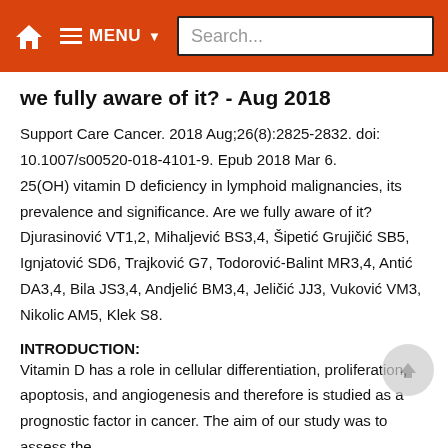MENU Search...
we fully aware of it? - Aug 2018
Support Care Cancer. 2018 Aug;26(8):2825-2832. doi: 10.1007/s00520-018-4101-9. Epub 2018 Mar 6. 25(OH) vitamin D deficiency in lymphoid malignancies, its prevalence and significance. Are we fully aware of it? Djurasinović VT1,2, Mihaljević BS3,4, Šipetić Grujičić SB5, Ignjatović SD6, Trajković G7, Todorović-Balint MR3,4, Antić DA3,4, Bila JS3,4, Andjelić BM3,4, Jeličić JJ3, Vuković VM3, Nikolic AM5, Klek S8.
INTRODUCTION:
Vitamin D has a role in cellular differentiation, proliferation, apoptosis, and angiogenesis and therefore is studied as a prognostic factor in cancer. The aim of our study was to assess the